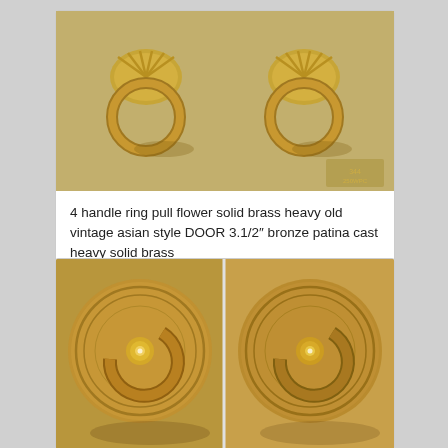[Figure (photo): Photo of 4 antique brass ring pull handles with flower/fan motifs, golden bronze patina, arranged in a 2x2 grid on light background]
4 handle ring pull flower solid brass heavy old vintage asian style DOOR 3.1/2″ bronze patina cast heavy solid brass
US$ 149.00
Add to cart
Show Details
[Figure (photo): Two large circular brass ring pull handles side by side, round backplates with concentric rings, bronze patina finish]